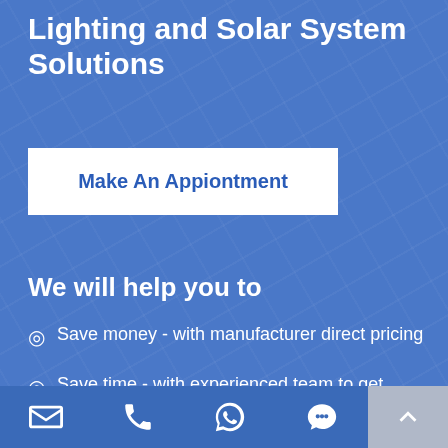Lighting and Solar System Solutions
Make An Appiontment
We will help you to
Save money - with manufacturer direct pricing
Save time - with experienced team to get project done
Contact icons: email, phone, whatsapp, chat, scroll-to-top